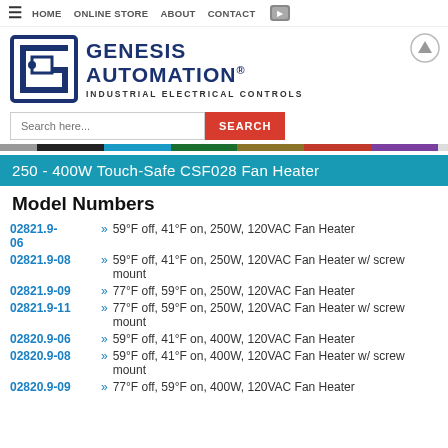≡  HOME  ONLINE STORE  ABOUT  CONTACT
[Figure (logo): Genesis Automation logo with stylized G icon and text 'GENESIS AUTOMATION® INDUSTRIAL ELECTRICAL CONTROLS']
250 - 400W Touch-Safe CSF028 Fan Heater
Model Numbers
02821.9-06 » 59°F off, 41°F on, 250W, 120VAC Fan Heater
02821.9-08 » 59°F off, 41°F on, 250W, 120VAC Fan Heater w/ screw mount
02821.9-09 » 77°F off, 59°F on, 250W, 120VAC Fan Heater
02821.9-11 » 77°F off, 59°F on, 250W, 120VAC Fan Heater w/ screw mount
02820.9-06 » 59°F off, 41°F on, 400W, 120VAC Fan Heater
02820.9-08 » 59°F off, 41°F on, 400W, 120VAC Fan Heater w/ screw mount
02820.9-09 » 77°F off, 59°F on, 400W, 120VAC Fan Heater